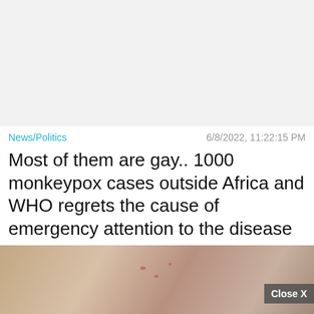[Figure (other): Gray placeholder advertisement area at the top of the page]
News/Politics    6/8/2022, 11:22:15 PM
Most of them are gay.. 1000 monkeypox cases outside Africa and WHO regrets the cause of emergency attention to the disease
[Figure (photo): A close-up photo of a human hand with rash/lesions, overlaid with a game advertisement (Hold and Move) and a close button. Bottom right shows trees.]